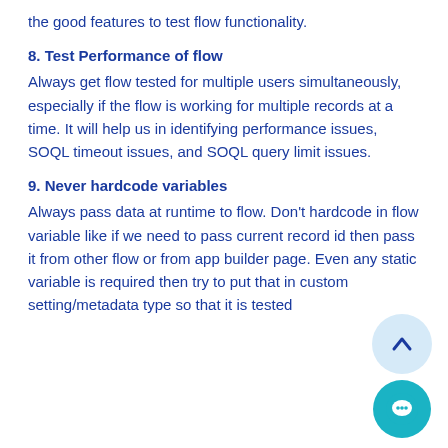the good features to test flow functionality.
8. Test Performance of flow
Always get flow tested for multiple users simultaneously, especially if the flow is working for multiple records at a time. It will help us in identifying performance issues, SOQL timeout issues, and SOQL query limit issues.
9. Never hardcode variables
Always pass data at runtime to flow. Don't hardcode in flow variable like if we need to pass current record id then pass it from other flow or from app builder page. Even any static variable is required then try to put that in custom setting/metadata type so that it is tested
[Figure (illustration): Chat widget with up-arrow button (light blue circle) and chat bubble button (teal circle) in the bottom right corner]